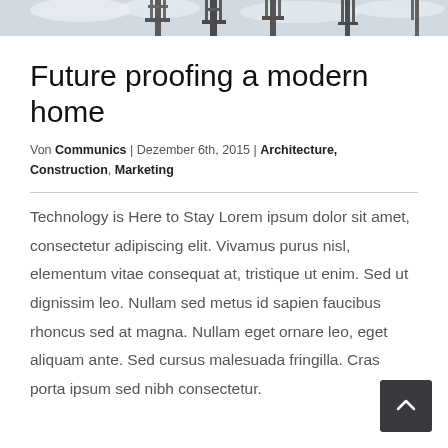[Figure (photo): Black and white photo banner showing industrial/construction structures against a cloudy sky]
Future proofing a modern home
Von Communics | Dezember 6th, 2015 | Architecture, Construction, Marketing
Technology is Here to Stay Lorem ipsum dolor sit amet, consectetur adipiscing elit. Vivamus purus nisl, elementum vitae consequat at, tristique ut enim. Sed ut dignissim leo. Nullam sed metus id sapien faucibus rhoncus sed at magna. Nullam eget ornare leo, eget aliquam ante. Sed cursus malesuada fringilla. Cras porta ipsum sed nibh consectetur.